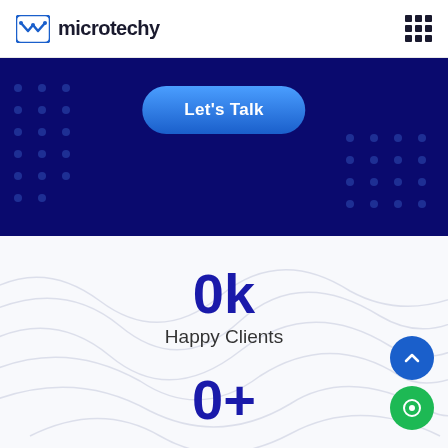microtechy
[Figure (screenshot): Dark navy blue banner with 'Let's Talk' button styled as a rounded pill in blue gradient]
0k
Happy Clients
0+